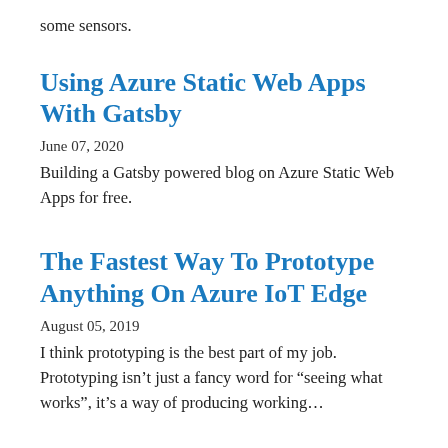some sensors.
Using Azure Static Web Apps With Gatsby
June 07, 2020
Building a Gatsby powered blog on Azure Static Web Apps for free.
The Fastest Way To Prototype Anything On Azure IoT Edge
August 05, 2019
I think prototyping is the best part of my job. Prototyping isn’t just a fancy word for “seeing what works”, it’s a way of producing working…